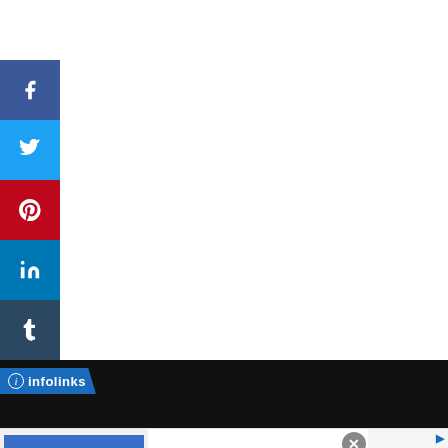[Figure (screenshot): Social media share buttons: Facebook (blue), Twitter (light blue), Pinterest (red), LinkedIn (dark blue), Tumblr (dark)]
[Figure (screenshot): Dark navigation bar with infolinks badge]
[Figure (screenshot): Advertisement banner: 40% off Womens Clothing - Save 40% now on women clothing at Ashley Stewart - bit.ly - with close button and navigation arrow]